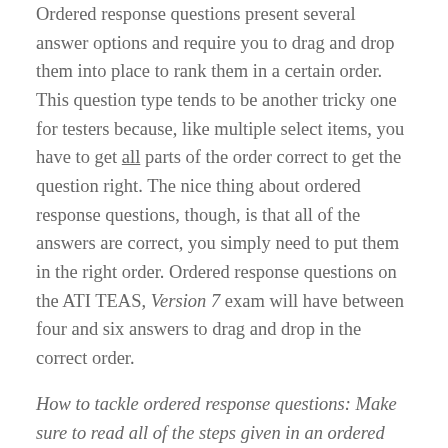Ordered response questions present several answer options and require you to drag and drop them into place to rank them in a certain order. This question type tends to be another tricky one for testers because, like multiple select items, you have to get all parts of the order correct to get the question right. The nice thing about ordered response questions, though, is that all of the answers are correct, you simply need to put them in the right order. Ordered response questions on the ATI TEAS, Version 7 exam will have between four and six answers to drag and drop in the correct order.
How to tackle ordered response questions: Make sure to read all of the steps given in an ordered